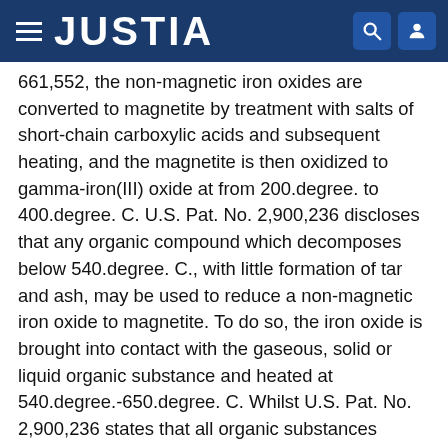JUSTIA
661,552, the non-magnetic iron oxides are converted to magnetite by treatment with salts of short-chain carboxylic acids and subsequent heating, and the magnetite is then oxidized to gamma-iron(III) oxide at from 200.degree. to 400.degree. C. U.S. Pat. No. 2,900,236 discloses that any organic compound which decomposes below 540.degree. C., with little formation of tar and ash, may be used to reduce a non-magnetic iron oxide to magnetite. To do so, the iron oxide is brought into contact with the gaseous, solid or liquid organic substance and heated at 540.degree.-650.degree. C. Whilst U.S. Pat. No. 2,900,236 states that all organic substances conforming to the above requirements can be used, and specifically mentions wax, starch and oil, German published application DAS No. 1,203,656 mentions salts of soluble soaps, precipitated on the iron oxide, and East German